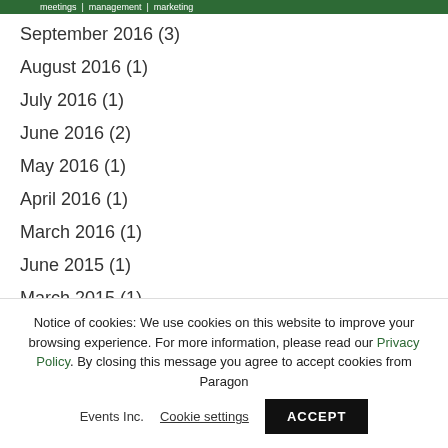meetings | management | marketing
September 2016 (3)
August 2016 (1)
July 2016 (1)
June 2016 (2)
May 2016 (1)
April 2016 (1)
March 2016 (1)
June 2015 (1)
March 2015 (1)
Notice of cookies: We use cookies on this website to improve your browsing experience. For more information, please read our Privacy Policy. By closing this message you agree to accept cookies from Paragon Events Inc. Cookie settings ACCEPT